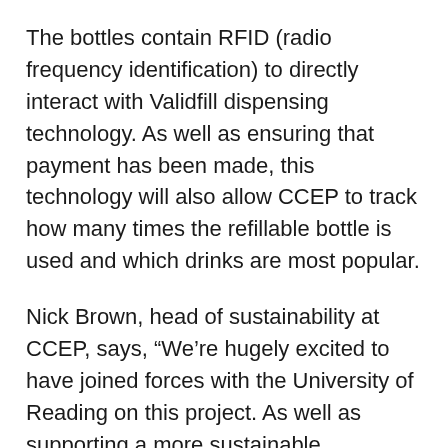The bottles contain RFID (radio frequency identification) to directly interact with Validfill dispensing technology. As well as ensuring that payment has been made, this technology will also allow CCEP to track how many times the refillable bottle is used and which drinks are most popular.
Nick Brown, head of sustainability at CCEP, says, “We’re hugely excited to have joined forces with the University of Reading on this project. As well as supporting a more sustainable packaging system on campus, the trial will allow us to explore consumer behaviours and attitudes towards refillable bottles, with the goal to help students and staff across the university to reduce their personal packaging footprint.